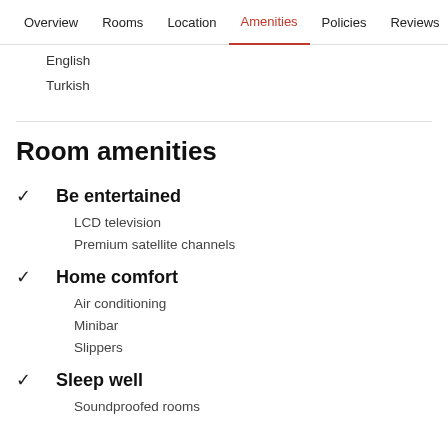Overview  Rooms  Location  Amenities  Policies  Reviews
English
Turkish
Room amenities
Be entertained
LCD television
Premium satellite channels
Home comfort
Air conditioning
Minibar
Slippers
Sleep well
Soundproofed rooms